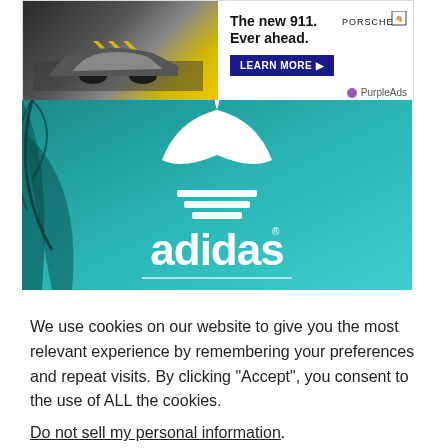[Figure (screenshot): Porsche advertisement banner showing a Porsche 911 car with text 'The new 911. Ever ahead.' and a LEARN MORE button, with PurpleAds label]
[Figure (photo): Adidas Originals advertisement with teal/turquoise background, white adidas trefoil logo, and white 'adidas' wordmark, palm leaves silhouette]
We use cookies on our website to give you the most relevant experience by remembering your preferences and repeat visits. By clicking “Accept”, you consent to the use of ALL the cookies.
Do not sell my personal information.
Cookie settings
ACCEPT